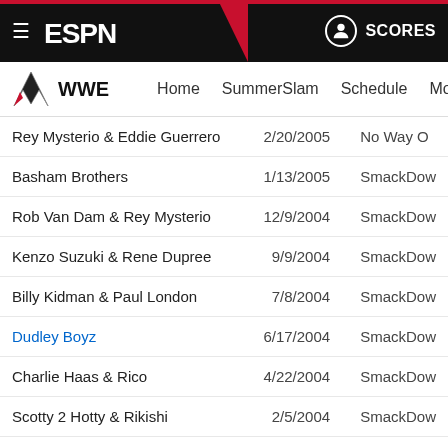ESPN WWE Navigation - Header
| Champion | Date | Event |
| --- | --- | --- |
| Rey Mysterio & Eddie Guerrero | 2/20/2005 | No Way O... |
| Basham Brothers | 1/13/2005 | SmackDow... |
| Rob Van Dam & Rey Mysterio | 12/9/2004 | SmackDow... |
| Kenzo Suzuki & Rene Dupree | 9/9/2004 | SmackDow... |
| Billy Kidman & Paul London | 7/8/2004 | SmackDow... |
| Dudley Boyz | 6/17/2004 | SmackDow... |
| Charlie Haas & Rico | 4/22/2004 | SmackDow... |
| Scotty 2 Hotty & Rikishi | 2/5/2004 | SmackDow... |
| Basham Brothers | 10/23/2003 | SmackDow... |
| Los Guerreros | 9/18/2003 | SmackDow... |
| World's Greatest Tag Team | 7/3/2003 | SmackDow... |
| Eddie Guerrero & Tajiri | 5/18/2003 | Judgment D... |
| World's Greatest Tag Team | 2/6/2003 | SmackDow... |